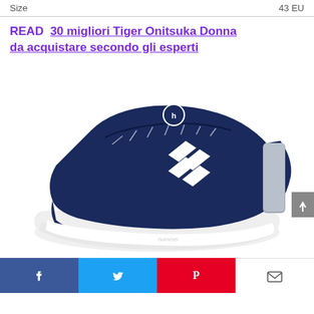| Size | 43 EU |
| --- | --- |
READ  30 migliori Tiger Onitsuka Donna da acquistare secondo gli esperti
[Figure (photo): Navy blue Hummel sneaker with white chevron logo and white sole, shown at an angle on white background]
[Figure (other): Social sharing bar with Facebook, Twitter, Pinterest, and email icons]